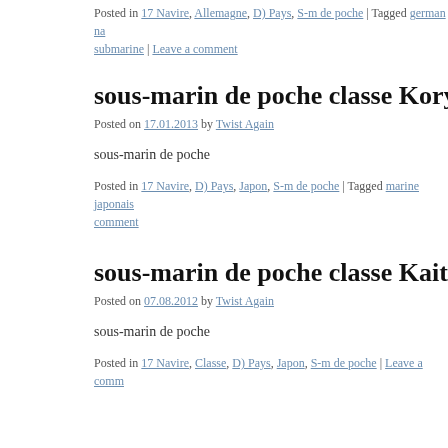Posted in 17 Navire, Allemagne, D) Pays, S-m de poche | Tagged german na… submarine | Leave a comment
sous-marin de poche classe Koryu type D…
Posted on 17.01.2013 by Twist Again
sous-marin de poche
Posted in 17 Navire, D) Pays, Japon, S-m de poche | Tagged marine japonais… comment
sous-marin de poche classe Kaiten type …
Posted on 07.08.2012 by Twist Again
sous-marin de poche
Posted in 17 Navire, Classe, D) Pays, Japon, S-m de poche | Leave a comm…